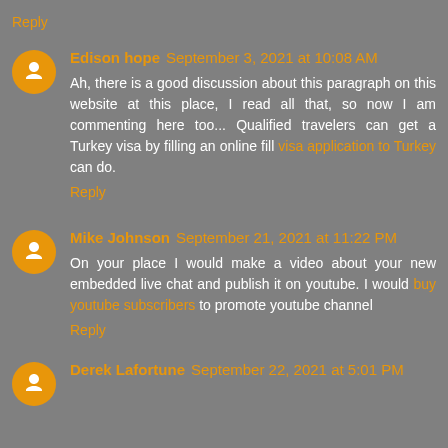Reply
Edison hope  September 3, 2021 at 10:08 AM
Ah, there is a good discussion about this paragraph on this website at this place, I read all that, so now I am commenting here too... Qualified travelers can get a Turkey visa by filling an online fill visa application to Turkey can do.
Reply
Mike Johnson  September 21, 2021 at 11:22 PM
On your place I would make a video about your new embedded live chat and publish it on youtube. I would buy youtube subscribers to promote youtube channel
Reply
Derek Lafortune  September 22, 2021 at 5:01 PM